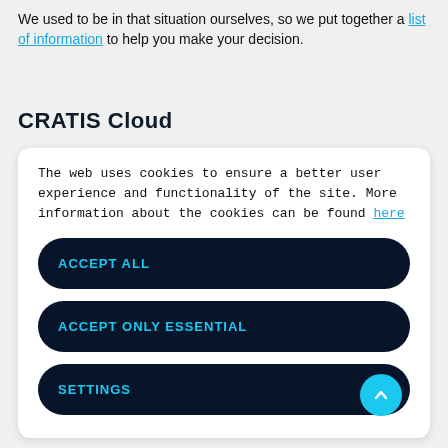We used to be in that situation ourselves, so we put together a list of information to help you make your decision.
CRATIS Cloud
The web uses cookies to ensure a better user experience and functionality of the site. More information about the cookies can be found here
ACCEPT ALL
ACCEPT ONLY ESSENTIAL
SETTINGS